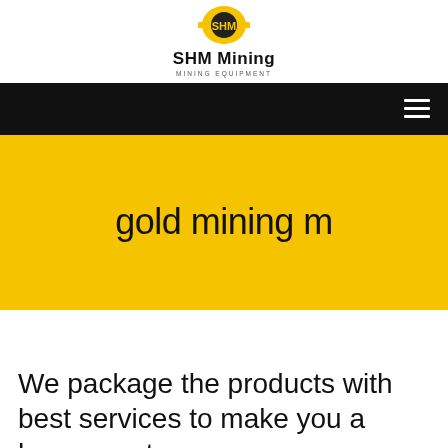[Figure (logo): SHM Mining logo: yellow circular gear/shield emblem with dark center]
SHM Mining
MINING EQUIPMENT
[Figure (other): Black navigation bar with white hamburger menu icon on the right]
gold mining m
We package the products with best services to make you a happy customer.